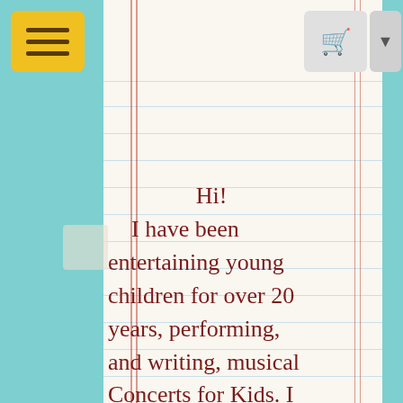[Figure (screenshot): Mobile website screenshot showing a notebook-paper styled page with teal background, yellow hamburger menu button top-left, grey cart icon top-right]
Hi!
    I have been entertaining young children for over 20 years, performing, and writing, musical Concerts for Kids. I am currently offering a classroom songwriting workshop called: “Compose, Yourself! with Julie Garnett”, for pre-K through 3rd grade classrooms.